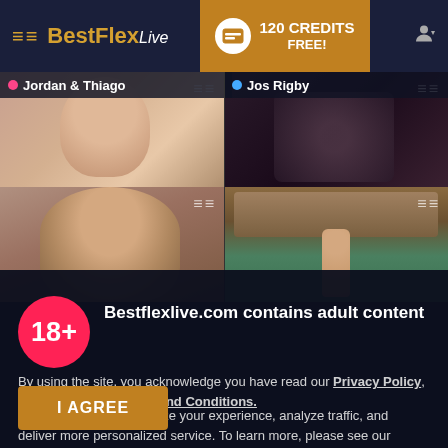BestFlexLive — 120 CREDITS FREE!
[Figure (screenshot): Live stream thumbnail showing Jordan & Thiago — close-up face view]
[Figure (screenshot): Live stream thumbnail showing Jos Rigby — dark/silhouetted view]
[Figure (screenshot): Second row left thumbnail — young man close-up face]
[Figure (screenshot): Second row right thumbnail — man at poolside resort]
Bestflexlive.com contains adult content
By using the site, you acknowledge you have read our Privacy Policy, and agree to our Terms and Conditions.
We use cookies to optimize your experience, analyze traffic, and deliver more personalized service. To learn more, please see our Privacy Policy.